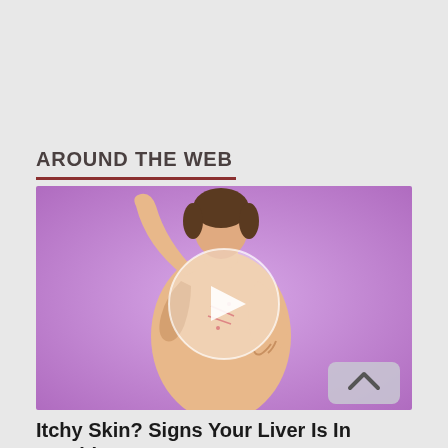AROUND THE WEB
[Figure (illustration): Illustration of a person scratching their back/side with both hands against a purple/lavender gradient background, with a circular video play button overlay in the center. A scroll-to-top arrow button appears in the bottom right corner.]
Itchy Skin? Signs Your Liver Is In Trouble